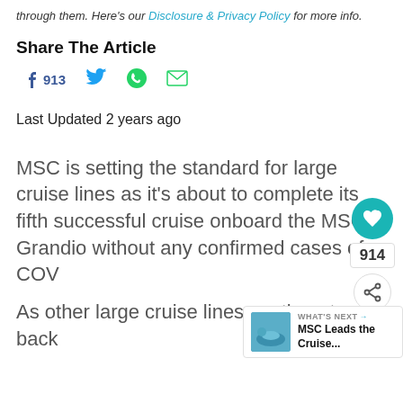through them. Here's our Disclosure & Privacy Policy for more info.
Share The Article
[Figure (infographic): Social share icons: Facebook (913 shares), Twitter, WhatsApp, Email]
Last Updated 2 years ago
MSC is setting the standard for large cruise lines as it's about to complete its fifth successful cruise onboard the MSC Grandio without any confirmed cases of COV
As other large cruise lines continue to sit back
[Figure (infographic): Sidebar widget showing heart/like button, share count 914, and share icon]
[Figure (infographic): What's Next widget: MSC Leads the Cruise... with thumbnail image]